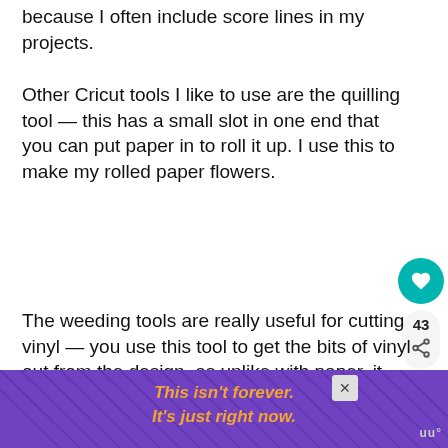because I often include score lines in my projects.
Other Cricut tools I like to use are the quilling tool — this has a small slot in one end that you can put paper in to roll it up. I use this to make my rolled paper flowers.
The weeding tools are really useful for cutting vinyl — you use this tool to get the bits of vinyl out from the design, as unlike with paper, it has a backing and the bits do not come out on their own.
[Figure (infographic): Purple advertisement banner with diagonal line background and orange italic bold text reading 'This isn't forever. It's just right now.' with a close button and logo.]